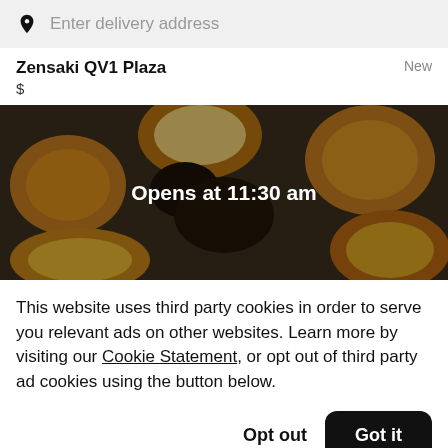Enter delivery address
Zensaki QV1 Plaza
$
[Figure (photo): Overhead photo of various food dishes in dark containers, overlaid with dark semi-transparent layer and white text reading 'Opens at 11:30 am']
This website uses third party cookies in order to serve you relevant ads on other websites. Learn more by visiting our Cookie Statement, or opt out of third party ad cookies using the button below.
Opt out
Got it